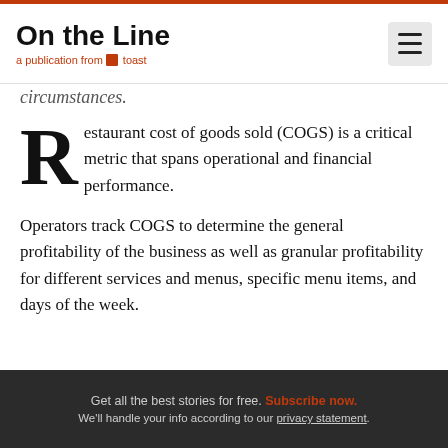On the Line — a publication from Toast
circumstances.
Restaurant cost of goods sold (COGS) is a critical metric that spans operational and financial performance.
Operators track COGS to determine the general profitability of the business as well as granular profitability for different services and menus, specific menu items, and days of the week.
Get all the best stories for free. Subscribe now. We'll handle your info according to our privacy statement.